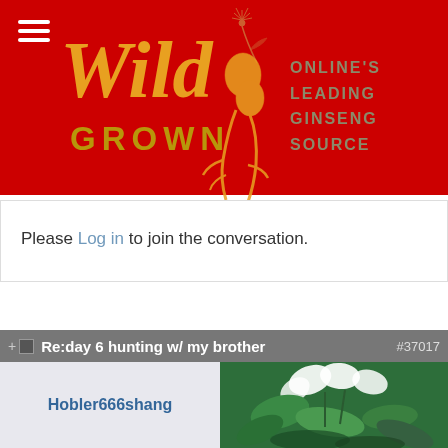[Figure (logo): Wild Grown ginseng website logo on red background with tagline ONLINE'S LEADING GINSENG SOURCE and decorative dandelion illustration]
Please Log in to join the conversation.
Re:day 6 hunting w/ my brother #37017
Hobler666shang
[Figure (photo): Photo of a plant with white flowers and green leaves, possibly ginseng plant]